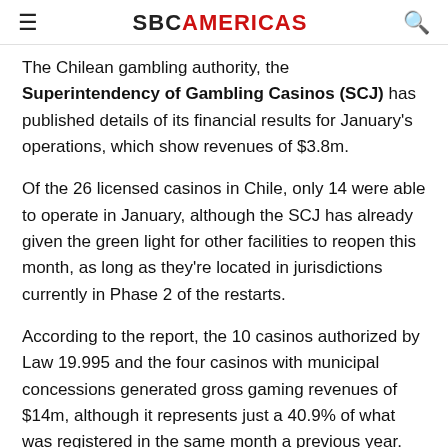SBC AMERICAS
The Chilean gambling authority, the Superintendency of Gambling Casinos (SCJ) has published details of its financial results for January's operations, which show revenues of $3.8m.
Of the 26 licensed casinos in Chile, only 14 were able to operate in January, although the SCJ has already given the green light for other facilities to reopen this month, as long as they're located in jurisdictions currently in Phase 2 of the restarts.
According to the report, the 10 casinos authorized by Law 19.995 and the four casinos with municipal concessions generated gross gaming revenues of $14m, although it represents just a 40.9% of what was registered in the same month a previous year.